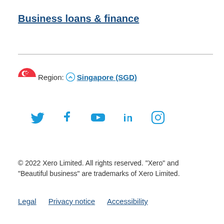Business loans & finance
[Figure (infographic): Horizontal divider line]
Region: Singapore (SGD)
[Figure (infographic): Social media icons row: Twitter, Facebook, YouTube, LinkedIn, Instagram]
© 2022 Xero Limited. All rights reserved. "Xero" and "Beautiful business" are trademarks of Xero Limited.
Legal   Privacy notice   Accessibility